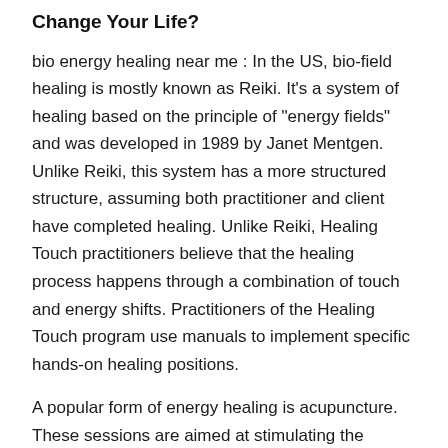Change Your Life?
bio energy healing near me : In the US, bio-field healing is mostly known as Reiki. It’s a system of healing based on the principle of “energy fields” and was developed in 1989 by Janet Mentgen. Unlike Reiki, this system has a more structured structure, assuming both practitioner and client have completed healing. Unlike Reiki, Healing Touch practitioners believe that the healing process happens through a combination of touch and energy shifts. Practitioners of the Healing Touch program use manuals to implement specific hands-on healing positions.
A popular form of energy healing is acupuncture. These sessions are aimed at stimulating the energy flow throughout the body. These techniques have many benefits, and can help you achieve your health goals. They can even improve your quality of life. Despite their many benefits, bio-energy healing is still controversial. But you should know...